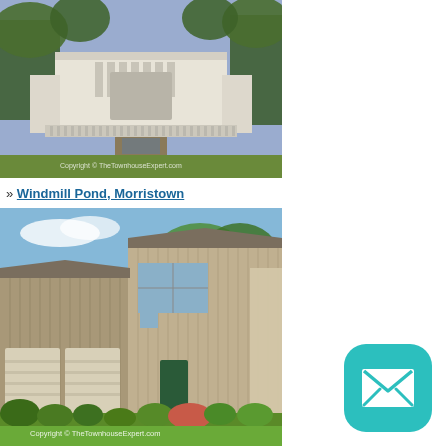[Figure (photo): Aerial/front view of a large neoclassical white building with a long reflecting pool/garden pathway leading to it, surrounded by trees. Copyright © TheTownhouseExpert.com watermark visible.]
» Windmill Pond, Morristown
[Figure (photo): Exterior photo of a modern townhouse with tan/brown vertical siding, two-car garage, landscaped garden in front with shrubs and flowers, blue sky. Copyright © TheTownhouseExpert.com watermark visible.]